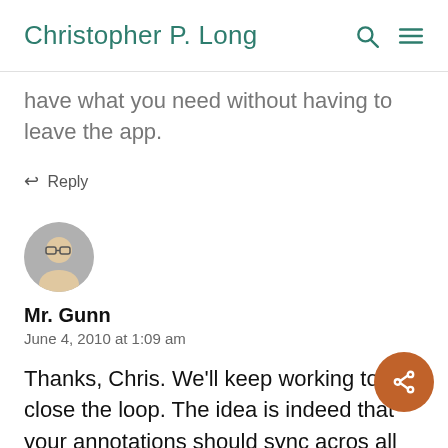Christopher P. Long
have what you need without having to leave the app.
Reply
[Figure (photo): Circular avatar photo of Mr. Gunn, a person with glasses]
Mr. Gunn
June 4, 2010 at 1:09 am
Thanks, Chris. We'll keep working to close the loop. The idea is indeed that your annotations should sync across all platforms as well, so you'll always have what you need without having to